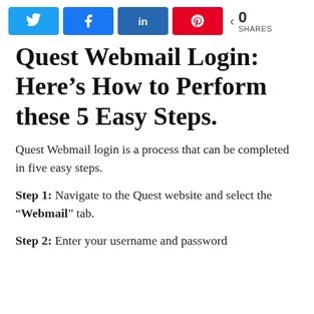[Figure (other): Social share bar with Twitter, Facebook, LinkedIn, Pinterest buttons and a share count of 0]
Quest Webmail Login: Here’s How to Perform these 5 Easy Steps.
Quest Webmail login is a process that can be completed in five easy steps.
Step 1: Navigate to the Quest website and select the “Webmail” tab.
Step 2: Enter your username and password